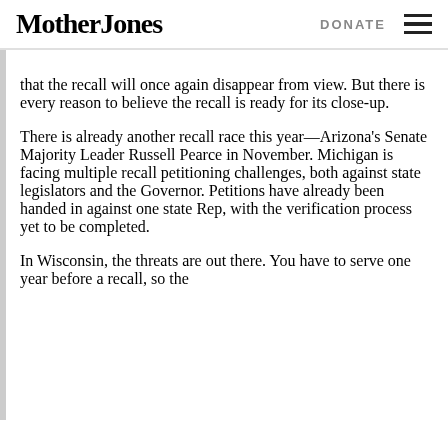Mother Jones | DONATE
that the recall will once again disappear from view. But there is every reason to believe the recall is ready for its close-up.
There is already another recall race this year—Arizona's Senate Majority Leader Russell Pearce in November. Michigan is facing multiple recall petitioning challenges, both against state legislators and the Governor. Petitions have already been handed in against one state Rep, with the verification process yet to be completed.
In Wisconsin, the threats are out there. You have to serve one year before a recall, so the